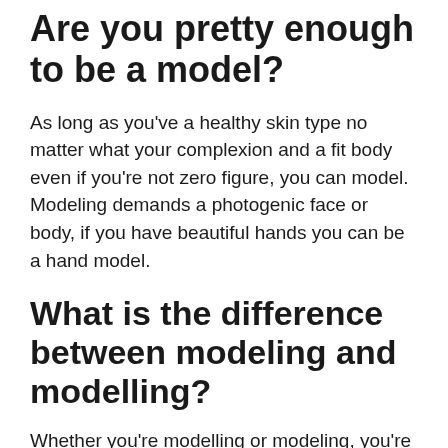Are you pretty enough to be a model?
As long as you've a healthy skin type no matter what your complexion and a fit body even if you're not zero figure, you can model. Modeling demands a photogenic face or body, if you have beautiful hands you can be a hand model.
What is the difference between modeling and modelling?
Whether you're modelling or modeling, you're doing the same thing. The only difference is in the spelling—the one with the